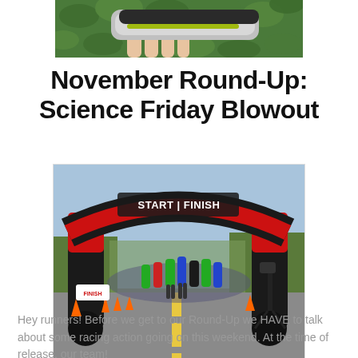[Figure (photo): Close-up photo of a hand holding a running shoe with yellow-green stripe against green leafy background]
November Round-Up: Science Friday Blowout
[Figure (photo): Photo of runners at a race START | FINISH inflatable arch on a street, orange cones visible, trees in background]
Hey runners! Before we get to our Round-Up we HAVE to talk about some racing action going on this weekend. At the time of release, our team!